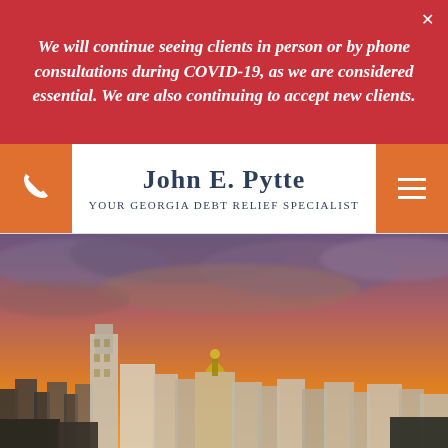We will continue seeing clients in person or by phone consultations during COVID-19, as we are considered essential. We are also continuing to accept new clients.
John E. Pytte
Your Georgia Debt Relief Specialist
[Figure (photo): City skyline of Savannah, Georgia at sunset/dusk with dramatic cloudy sky in orange and purple tones, buildings along the riverfront]